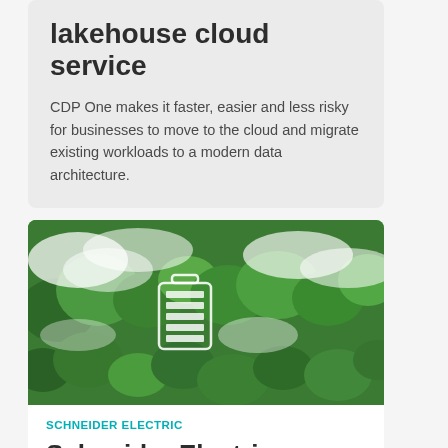lakehouse cloud service
CDP One makes it faster, easier and less risky for businesses to move to the cloud and migrate existing workloads to a modern data architecture.
[Figure (photo): Aerial view of dense green forest canopy with white clouds, featuring a glowing battery icon overlay in the center.]
SCHNEIDER ELECTRIC
Schneider Electric launches SM AirSeT in Australia